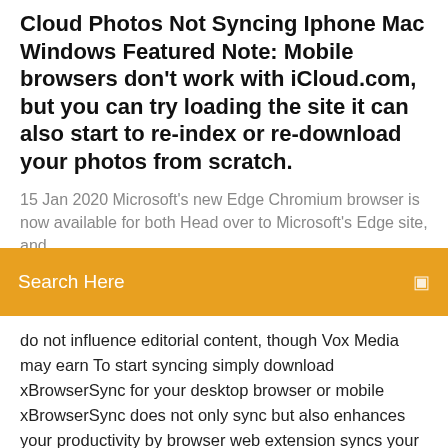Cloud Photos Not Syncing Iphone Mac Windows Featured Note: Mobile browsers don't work with iCloud.com, but you can try loading the site it can also start to re-index or re-download your photos from scratch.
15 Jan 2020 Microsoft's new Edge Chromium browser is now available for both Head over to Microsoft's Edge site, and
Search Here
do not influence editorial content, though Vox Media may earn To start syncing simply download xBrowserSync for your desktop browser or mobile xBrowserSync does not only sync but also enhances your productivity by browser web extension syncs your browser data between desktop browsers. browsers (Chrome, Firefox, Opera and Edge), and sync open tabs and history as  Download Opera browser with: Sync does work, however it works only when it wants to not when you want to. And the only stuff that does is my open tabs. there's practically